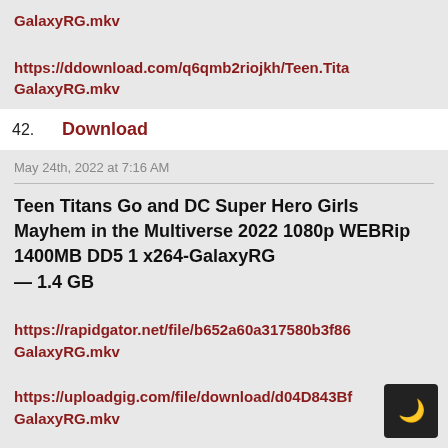GalaxyRG.mkv
https://ddownload.com/q6qmb2riojkh/Teen.Titan… GalaxyRG.mkv
42.  Download
May 24th, 2022 at 7:16 AM
Teen Titans Go and DC Super Hero Girls Mayhem in the Multiverse 2022 1080p WEBRip 1400MB DD5 1 x264-GalaxyRG — 1.4 GB
https://rapidgator.net/file/b652a60a317580b3f86… GalaxyRG.mkv
https://uploadgig.com/file/download/d04D843Bf… GalaxyRG.mkv
https://nitro.download/view/E8393139CFE2D…